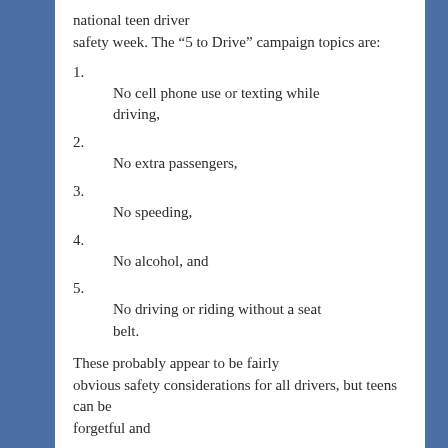national teen driver safety week. The “5 to Drive” campaign topics are:
1. No cell phone use or texting while driving,
2. No extra passengers,
3. No speeding,
4. No alcohol, and
5. No driving or riding without a seat belt.
These probably appear to be fairly obvious safety considerations for all drivers, but teens can be forgetful and